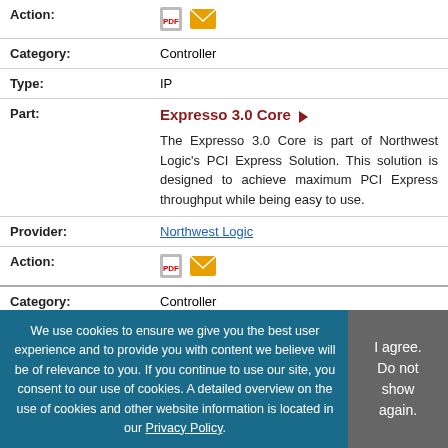| Field | Value |
| --- | --- |
| Action: | icons |
| Category: | Controller |
| Type: | IP |
| Part: | Expresso 3.0 Core ▶
The Expresso 3.0 Core is part of Northwest Logic's PCI Express Solution. This solution is designed to achieve maximum PCI Express throughput while being easy to use. |
| Provider: | Northwest Logic |
| Action: | icons |
| Category: | Controller |
| Type: | IP |
| Part: | Expresso 4.0 Core ▶ |
| Provider: | Northwest Logic |
We use cookies to ensure we give you the best user experience and to provide you with content we believe will be of relevance to you. If you continue to use our site, you consent to our use of cookies. A detailed overview on the use of cookies and other website information is located in our Privacy Policy.
I agree. Do not show again.